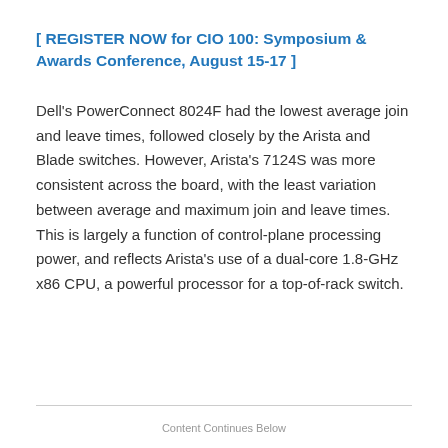[ REGISTER NOW for CIO 100: Symposium & Awards Conference, August 15-17 ]
Dell's PowerConnect 8024F had the lowest average join and leave times, followed closely by the Arista and Blade switches. However, Arista's 7124S was more consistent across the board, with the least variation between average and maximum join and leave times. This is largely a function of control-plane processing power, and reflects Arista's use of a dual-core 1.8-GHz x86 CPU, a powerful processor for a top-of-rack switch.
Content Continues Below